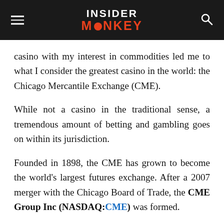INSIDER MONKEY
casino with my interest in commodities led me to what I consider the greatest casino in the world: the Chicago Mercantile Exchange (CME).
While not a casino in the traditional sense, a tremendous amount of betting and gambling goes on within its jurisdiction.
Founded in 1898, the CME has grown to become the world's largest futures exchange. After a 2007 merger with the Chicago Board of Trade, the CME Group Inc (NASDAQ:CME) was formed.